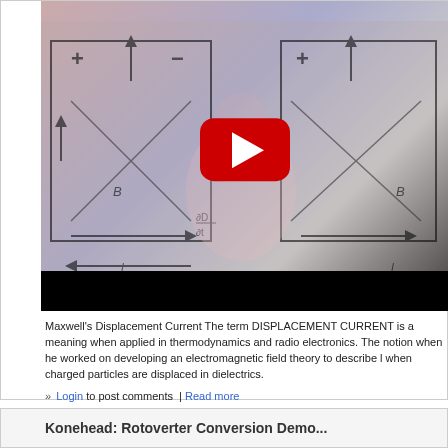[Figure (screenshot): Video thumbnail showing Maxwell's Displacement Current diagram with electromagnetic field illustrations overlaid on a YouTube-style player with red play button. Dark bar at bottom.]
Maxwell's Displacement Current The term DISPLACEMENT CURRENT is a meaning when applied in thermodynamics and radio electronics. The notion when he worked on developing an electromagnetic field theory to describe l when charged particles are displaced in dielectrics.
» Login to post comments | Read more
Konehead: Rotoverter Conversion Demo...